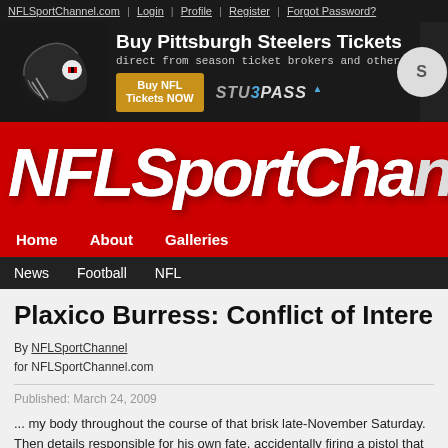NFLSportChannel.com | Login | Profile | Register | Forgot Password?
[Figure (screenshot): Advertisement banner: Pittsburgh Steelers helmet image on left, text 'Buy Pittsburgh Steelers Tickets direct from season ticket brokers and other', yellow 'Buy NFL Tickets NOW' button, StubPass logo]
[Figure (logo): NFLSportChannel red logo bar with large italic white text]
Home | About | Galleries
News | Football | NFL
Plaxico Burress: Conflict of Interest
By NFLSportChannel
for NFLSportChannel.com
Published: March 24, 2009
... my body throughout the course of that brisk late-November Saturday. Then details responsible for his own fate, accidentally firing a pistol that he was carrying in his sw